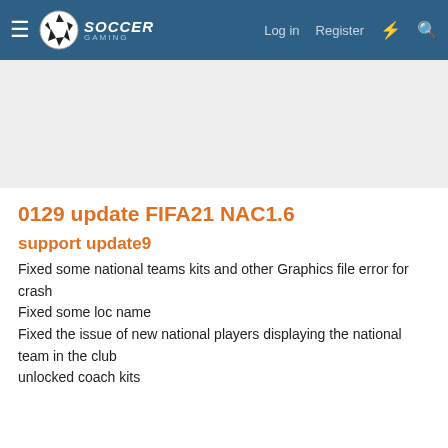Soccer Gaming — Log in  Register
0129 update FIFA21 NAC1.6
support update9
Fixed some national teams kits and other Graphics file error for crash
Fixed some loc name
Fixed the issue of new national players displaying the national team in the club
unlocked coach kits